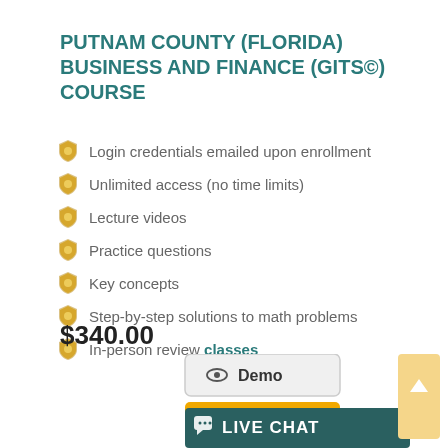PUTNAM COUNTY (FLORIDA) BUSINESS AND FINANCE (GITS©) COURSE
Login credentials emailed upon enrollment
Unlimited access (no time limits)
Lecture videos
Practice questions
Key concepts
Step-by-step solutions to math problems
In-person review classes
$340.00
[Figure (other): Demo button with eye icon, Enroll button with arrow icon, Live Chat button with chat bubble icon, and scroll-to-top arrow button]